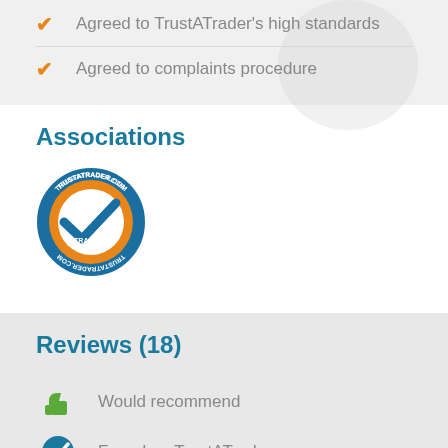Agreed to TrustATrader's high standards
Agreed to complaints procedure
Associations
[Figure (logo): TrustATrader.com Trusted Traders logo — circular badge with blue border, orange background, and a blue checkmark in the center]
Reviews (18)
Would recommend
Found on TrustATrader